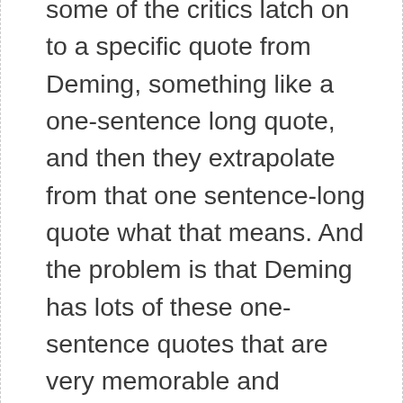some of the critics latch on to a specific quote from Deming, something like a one-sentence long quote, and then they extrapolate from that one sentence-long quote what that means. And the problem is that Deming has lots of these one-sentence quotes that are very memorable and meaningful and useful, but they don't capture every nuance and they don't alone